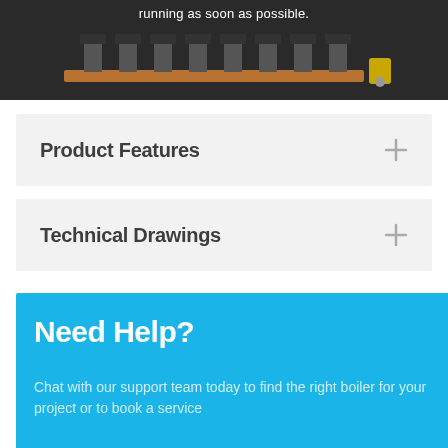[Figure (photo): Dark background photo of industrial boiler/heating manifold equipment with text overlay 'running as soon as possible.']
Product Features
Technical Drawings
Need Help?
Chat with our support team today to find the right boiler for your project or to book a service